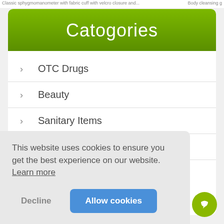Classic sphygmomanometer with fabric cuff with velcro closure and...   Body cleansing g
Catogories
OTC Drugs
Beauty
Sanitary Items
Health & Wellness
All Items
This website uses cookies to ensure you get the best experience on our website. Learn more
Decline   Allow cookies